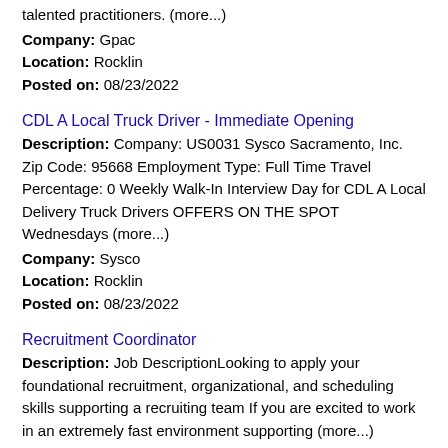talented practitioners. (more...)
Company: Gpac
Location: Rocklin
Posted on: 08/23/2022
CDL A Local Truck Driver - Immediate Opening
Description: Company: US0031 Sysco Sacramento, Inc. Zip Code: 95668 Employment Type: Full Time Travel Percentage: 0 Weekly Walk-In Interview Day for CDL A Local Delivery Truck Drivers OFFERS ON THE SPOT Wednesdays (more...)
Company: Sysco
Location: Rocklin
Posted on: 08/23/2022
Recruitment Coordinator
Description: Job DescriptionLooking to apply your foundational recruitment, organizational, and scheduling skills supporting a recruiting team If you are excited to work in an extremely fast environment supporting (more...)
Company: Hire Education Consulting Group
Location: Rocklin
Posted on: 08/23/2022
Fulfillment Specialist - Part Time